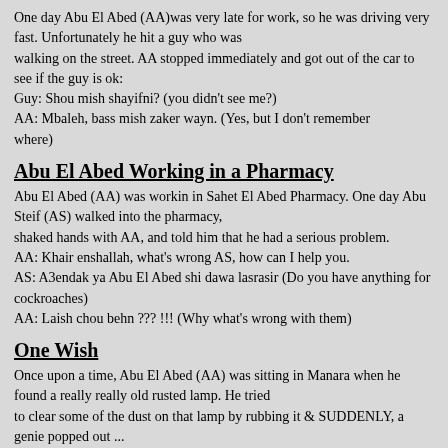One day Abu El Abed (AA)was very late for work, so he was driving very fast. Unfortunately he hit a guy who was walking on the street. AA stopped immediately and got out of the car to see if the guy is ok:
Guy: Shou mish shayifni? (you didn't see me?)
AA: Mbaleh, bass mish zaker wayn. (Yes, but I don't remember where)
Abu El Abed Working in a Pharmacy
Abu El Abed (AA) was workin in Sahet El Abed Pharmacy. One day Abu Steif (AS) walked into the pharmacy,
shaked hands with AA, and told him that he had a serious problem.
AA: Khair enshallah, what's wrong AS, how can I help you.
AS: A3endak ya Abu El Abed shi dawa lasrasir (Do you have anything for cockroaches)
AA: Laish chou behn ??? !!! (Why what's wrong with them)
One Wish
Once upon a time, Abu El Abed (AA) was sitting in Manara when he found a really really old rusted lamp. He tried to clear some of the dust on that lamp by rubbing it & SUDDENLY, a genie popped out ...
Genie: " SHEBEIK LEBEIK Abdak bein eideyk". Then told telling AA that he can make ONLY ONE wish.
After thinking for about 5 minutes or so, AA said
AA: Well Genie, here's what I want you to do. I want you to build me a highway